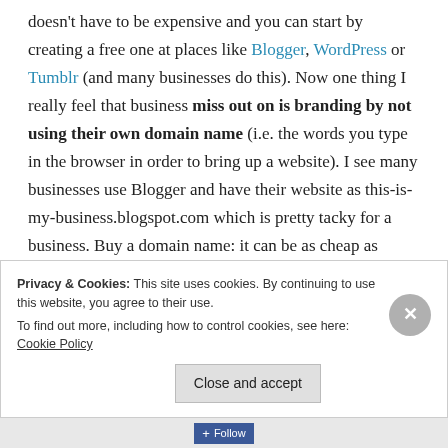doesn't have to be expensive and you can start by creating a free one at places like Blogger, WordPress or Tumblr (and many businesses do this). Now one thing I really feel that business miss out on is branding by not using their own domain name (i.e. the words you type in the browser in order to bring up a website). I see many businesses use Blogger and have their website as this-is-my-business.blogspot.com which is pretty tacky for a business. Buy a domain name: it can be as cheap as US$1 a year (but more typically ~US$20, but could
Privacy & Cookies: This site uses cookies. By continuing to use this website, you agree to their use. To find out more, including how to control cookies, see here: Cookie Policy
Close and accept